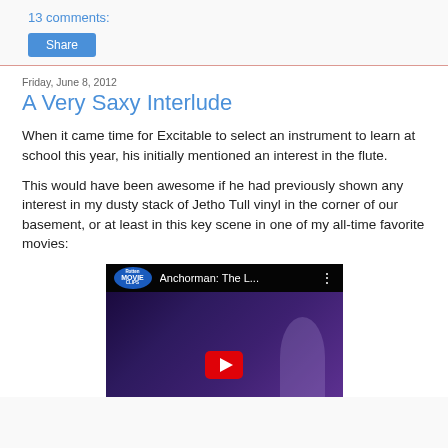13 comments:
Share
Friday, June 8, 2012
A Very Saxy Interlude
When it came time for Excitable to select an instrument to learn at school this year, his initially mentioned an interest in the flute.
This would have been awesome if he had previously shown any interest in my dusty stack of Jetho Tull vinyl in the corner of our basement, or at least in this key scene in one of my all-time favorite movies:
[Figure (screenshot): YouTube video thumbnail showing 'Anchorman: The L...' with Rotten Tomatoes Movie Clips badge, dark purple background with a person silhouette and a red play button]